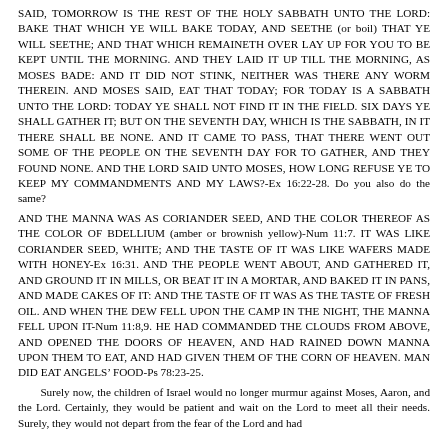SAID, TOMORROW IS THE REST OF THE HOLY SABBATH UNTO THE LORD: BAKE THAT WHICH YE WILL BAKE TODAY, AND SEETHE (or boil) THAT YE WILL SEETHE; AND THAT WHICH REMAINETH OVER LAY UP FOR YOU TO BE KEPT UNTIL THE MORNING. AND THEY LAID IT UP TILL THE MORNING, AS MOSES BADE: AND IT DID NOT STINK, NEITHER WAS THERE ANY WORM THEREIN. AND MOSES SAID, EAT THAT TODAY; FOR TODAY IS A SABBATH UNTO THE LORD: TODAY YE SHALL NOT FIND IT IN THE FIELD. SIX DAYS YE SHALL GATHER IT; BUT ON THE SEVENTH DAY, WHICH IS THE SABBATH, IN IT THERE SHALL BE NONE. AND IT CAME TO PASS, THAT THERE WENT OUT SOME OF THE PEOPLE ON THE SEVENTH DAY FOR TO GATHER, AND THEY FOUND NONE. AND THE LORD SAID UNTO MOSES, HOW LONG REFUSE YE TO KEEP MY COMMANDMENTS AND MY LAWS?-Ex 16:22-28. Do you also do the same?
AND THE MANNA WAS AS CORIANDER SEED, AND THE COLOR THEREOF AS THE COLOR OF BDELLIUM (amber or brownish yellow)-Num 11:7. IT WAS LIKE CORIANDER SEED, WHITE; AND THE TASTE OF IT WAS LIKE WAFERS MADE WITH HONEY-Ex 16:31. AND THE PEOPLE WENT ABOUT, AND GATHERED IT, AND GROUND IT IN MILLS, OR BEAT IT IN A MORTAR, AND BAKED IT IN PANS, AND MADE CAKES OF IT: AND THE TASTE OF IT WAS AS THE TASTE OF FRESH OIL. AND WHEN THE DEW FELL UPON THE CAMP IN THE NIGHT, THE MANNA FELL UPON IT-Num 11:8,9. HE HAD COMMANDED THE CLOUDS FROM ABOVE, AND OPENED THE DOORS OF HEAVEN, AND HAD RAINED DOWN MANNA UPON THEM TO EAT, AND HAD GIVEN THEM OF THE CORN OF HEAVEN. MAN DID EAT ANGELS' FOOD-Ps 78:23-25.
Surely now, the children of Israel would no longer murmur against Moses, Aaron, and the Lord. Certainly, they would be patient and wait on the Lord to meet all their needs. Surely, they would not depart from the fear of the Lord and had